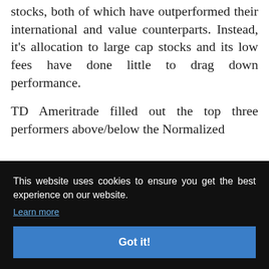stocks, both of which have outperformed their international and value counterparts. Instead, it's allocation to large cap stocks and its low fees have done little to drag down performance.
TD Ameritrade filled out the top three performers above/below the Normalized [best] [the] [year] [had] [rms] [eavy] [nce,]
This website uses cookies to ensure you get the best experience on our website. Learn more
Got it!